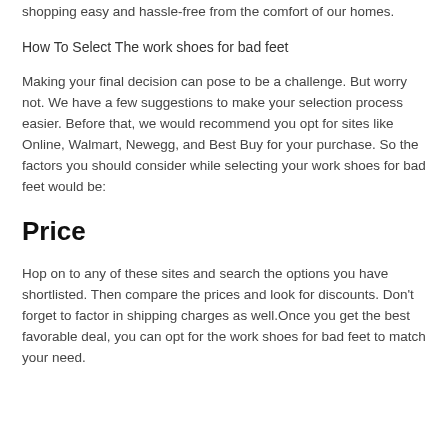shopping easy and hassle-free from the comfort of our homes.
How To Select The work shoes for bad feet
Making your final decision can pose to be a challenge. But worry not. We have a few suggestions to make your selection process easier. Before that, we would recommend you opt for sites like Online, Walmart, Newegg, and Best Buy for your purchase. So the factors you should consider while selecting your work shoes for bad feet would be:
Price
Hop on to any of these sites and search the options you have shortlisted. Then compare the prices and look for discounts. Don't forget to factor in shipping charges as well.Once you get the best favorable deal, you can opt for the work shoes for bad feet to match your need.